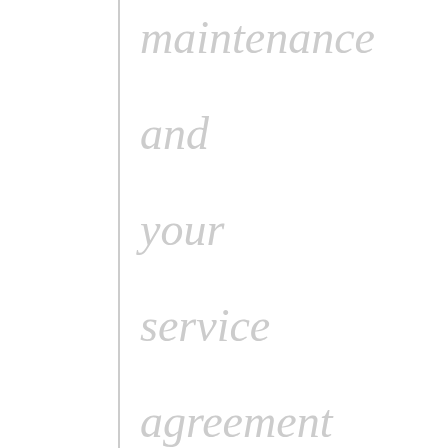maintenance and your service agreement insure your system will keep you cozy all